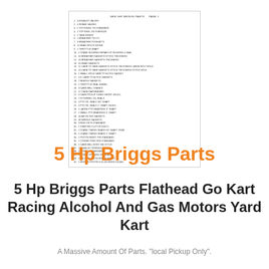[Figure (other): Scanned document listing NEW 5HP BRIGGS PARTS PAGE 1 with numbered list of approximately 40 parts including exhaust valves, intake valves, top ring, bore size, tank insert, breather, carb gaskets, head gaskets, throttle shaft, crank bushing repair kit, diaphragms, oil seals, bearings, ring sets, starter clutch, timing gears, piston, connecting rod, valve springs, and piston rings.]
5 Hp Briggs Parts
5 Hp Briggs Parts Flathead Go Kart Racing Alcohol And Gas Motors Yard Kart
A Massive Amount Of Parts. "local Pickup Only".